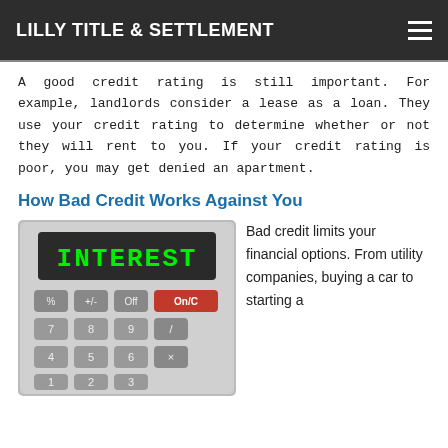LILLY TITLE & SETTLEMENT
A good credit rating is still important. For example, landlords consider a lease as a loan. They use your credit rating to determine whether or not they will rent to you. If your credit rating is poor, you may get denied an apartment.
How Bad Credit Works Against You
[Figure (photo): A calculator with 'INTEREST' displayed in green LED text on its screen. The calculator shows keys including %, +/-, Off, On/C, 7, 8, 9 visible. It is a grey plastic calculator on a white background.]
Bad credit limits your financial options. From utility companies, buying a car to starting a